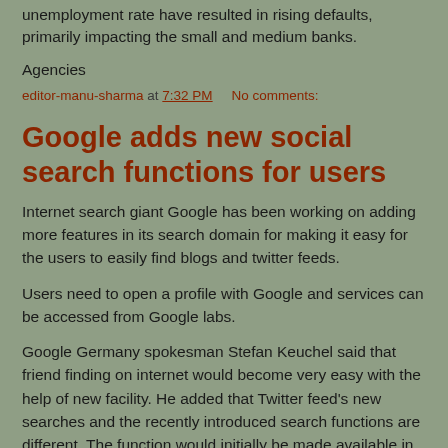unemployment rate have resulted in rising defaults, primarily impacting the small and medium banks.
Agencies
editor-manu-sharma at 7:32 PM    No comments:
Google adds new social search functions for users
Internet search giant Google has been working on adding more features in its search domain for making it easy for the users to easily find blogs and twitter feeds.
Users need to open a profile with Google and services can be accessed from Google labs.
Google Germany spokesman Stefan Keuchel said that friend finding on internet would become very easy with the help of new facility. He added that Twitter feed's new searches and the recently introduced search functions are different. The function would initially be made available in English.